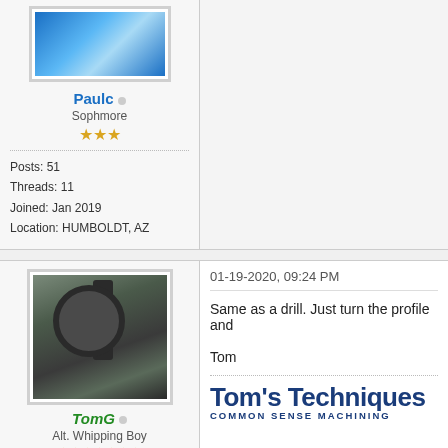[Figure (photo): Blue abstract avatar image for user Paulc]
Paulc • Sophmore ★★★ Posts: 51 Threads: 11 Joined: Jan 2019 Location: HUMBOLDT, AZ
[Figure (photo): Industrial machinery/engine photo for user TomG]
TomG • Alt. Whipping Boy ★★★★★★★ Posts: 3,779
01-19-2020, 09:24 PM
Same as a drill. Just turn the profile and

Tom
[Figure (logo): Tom's Techniques - Common Sense Machining logo]